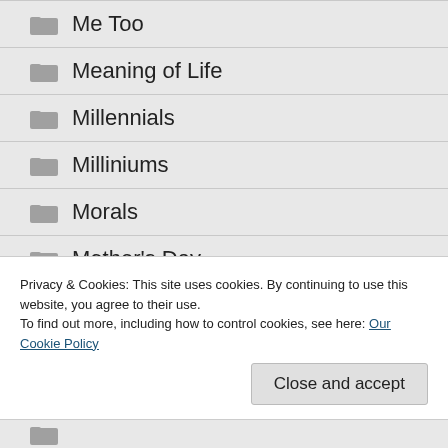Me Too
Meaning of Life
Millennials
Milliniums
Morals
Mother's Day
Mystery
Privacy & Cookies: This site uses cookies. By continuing to use this website, you agree to their use.
To find out more, including how to control cookies, see here: Our Cookie Policy
Close and accept